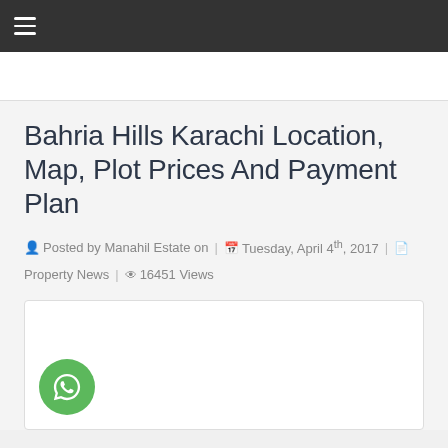Navigation bar with hamburger menu
Bahria Hills Karachi Location, Map, Plot Prices And Payment Plan
Posted by Manahil Estate on | Tuesday, April 4th, 2017 | Property News | 16451 Views
[Figure (screenshot): White image box with a green WhatsApp button in bottom left corner]